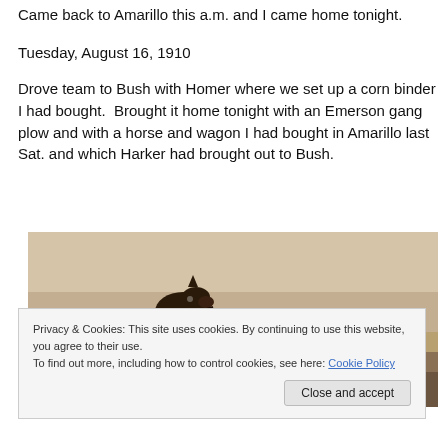Came back to Amarillo this a.m. and I came home tonight.
Tuesday, August 16, 1910
Drove team to Bush with Homer where we set up a corn binder I had bought.  Brought it home tonight with an Emerson gang plow and with a horse and wagon I had bought in Amarillo last Sat. and which Harker had brought out to Bush.
[Figure (photo): Sepia-toned historical photograph showing a horse's head visible in the lower left portion of the image, with a wide open landscape background.]
Privacy & Cookies: This site uses cookies. By continuing to use this website, you agree to their use.
To find out more, including how to control cookies, see here: Cookie Policy
Close and accept